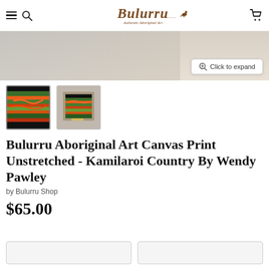Bulurru — Authentic Aboriginal Art (nav bar with hamburger, search, logo, cart)
[Figure (photo): Partial hero image of Aboriginal art canvas print, beige/grey textile background, with 'Click to expand' button overlay]
[Figure (photo): Thumbnail 1 (active/selected): close-up of Aboriginal art canvas showing red, orange, green layered landscape painting on black background]
[Figure (photo): Thumbnail 2: framed Aboriginal art canvas print in light wooden/grey frame showing same landscape painting]
Bulurru Aboriginal Art Canvas Print Unstretched - Kamilaroi Country By Wendy Pawley
by Bulurru Shop
$65.00